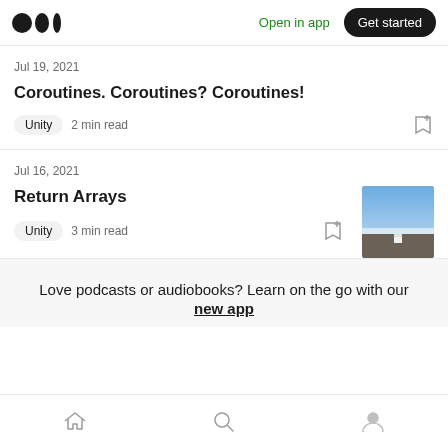Medium logo | Open in app | Get started
Jul 19, 2021
Coroutines. Coroutines? Coroutines!
Unity  2 min read
Jul 16, 2021
Return Arrays
[Figure (screenshot): Thumbnail image showing a 3D Unity scene with blue sky and gray ground plane]
Unity  3 min read
Love podcasts or audiobooks? Learn on the go with our new app
Home | Search | Profile navigation icons